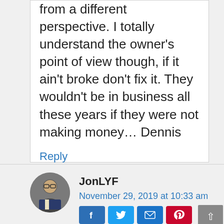from a different perspective. I totally understand the owner's point of view though, if it ain't broke don't fix it. They wouldn't be in business all these years if they were not making money… Dennis
Reply
JonLYF
November 29, 2019 at 10:33 am